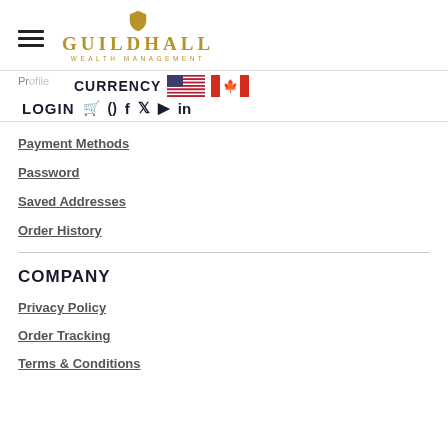GUILDHALL WEALTH MANAGEMENT
CURRENCY LOGIN () Payment Methods
Payment Methods
Password
Saved Addresses
Order History
COMPANY
Privacy Policy
Order Tracking
Terms & Conditions